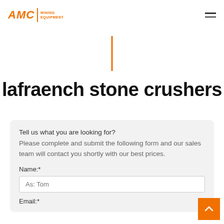[Figure (logo): AMC Mining Equipment logo in orange with vertical divider and text]
[Figure (other): Orange vertical bar decorative divider]
lafraench stone crushers
Tell us what you are looking for?
Please complete and submit the following form and our sales team will contact you shortly with our best prices.
Name:*
As: Tom
Email:*